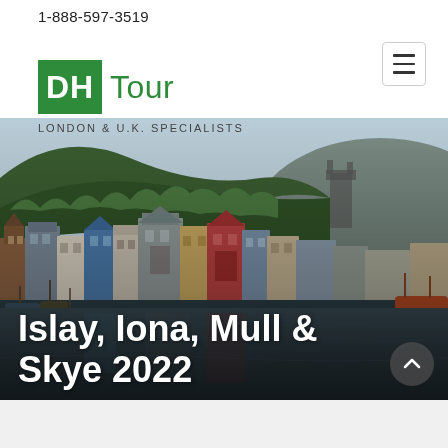1-888-597-3519
[Figure (logo): DH Tour logo — green square with white 'DH' text followed by green 'Tour' text, with tagline 'LONDON & U.K. SPECIALISTS' below]
[Figure (photo): Aerial/waterfront view of a Scottish harbour town (Tobermory, Mull) with colourful buildings along the waterfront and green hills behind]
Islay, Iona, Mull & Skye 2022